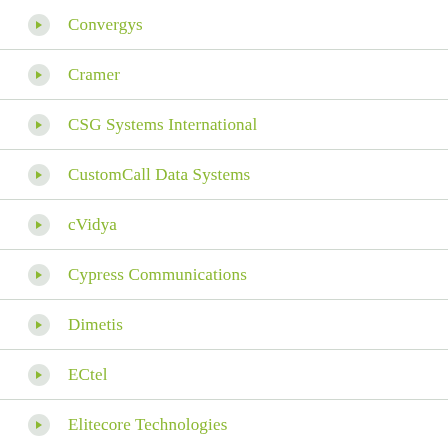Convergys
Cramer
CSG Systems International
CustomCall Data Systems
cVidya
Cypress Communications
Dimetis
ECtel
Elitecore Technologies
Equinox Information Systems